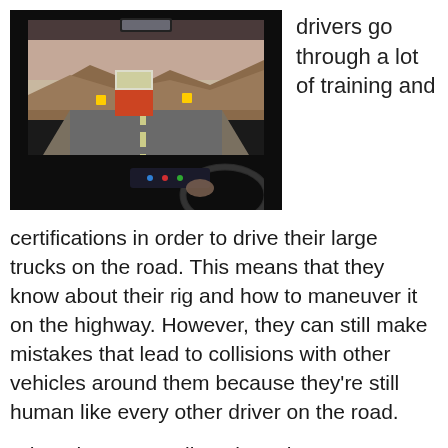[Figure (photo): View from inside a car on a highway, with a large truck ahead on the road, mountains and dry terrain visible in the background, driver's hand on steering wheel visible in lower right.]
drivers go through a lot of training and
certifications in order to drive their large trucks on the road. This means that they know about their rig and how to maneuver it on the highway. However, they can still make mistakes that lead to collisions with other vehicles around them because they're still human like every other driver on the road.
When they act negligently and cause a collision, everyone involved is at risk for serious injuries.